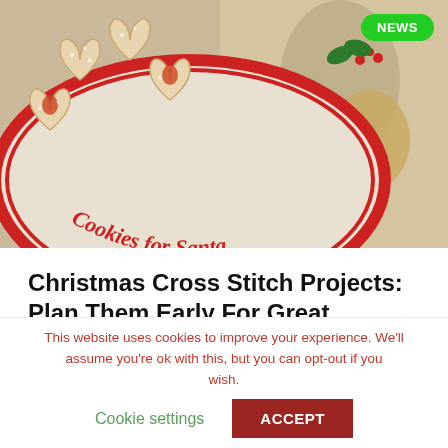[Figure (photo): Photo of Christmas cookies on a 'Cookies for Santa' plate with a festive tablecloth in the background. A green NEWS badge is visible in the top-right corner of the image.]
Christmas Cross Stitch Projects: Plan Them Early For Great Success!
This website uses cookies to improve your experience. We'll assume you're ok with this, but you can opt-out if you wish.  Cookie settings  ACCEPT